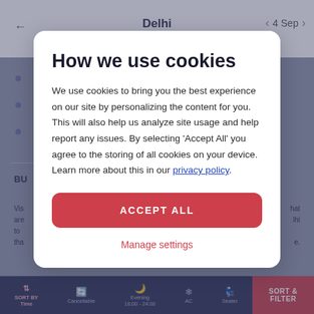[Figure (screenshot): Background of a travel booking website showing 'Delhi' header with navigation arrows, bullet list items, a section labeled 'BU', partial text about visits, and a bottom navigation bar with Sort By Time, Cancellable, Evening 18:00-24:00, AC, Seater, Sort & Filter options.]
How we use cookies
We use cookies to bring you the best experience on our site by personalizing the content for you. This will also help us analyze site usage and help report any issues. By selecting 'Accept All' you agree to the storing of all cookies on your device. Learn more about this in our privacy policy.
ACCEPT ALL
Manage settings